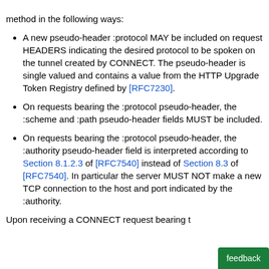method in the following ways:
A new pseudo-header :protocol MAY be included on request HEADERS indicating the desired protocol to be spoken on the tunnel created by CONNECT. The pseudo-header is single valued and contains a value from the HTTP Upgrade Token Registry defined by [RFC7230].
On requests bearing the :protocol pseudo-header, the :scheme and :path pseudo-header fields MUST be included.
On requests bearing the :protocol pseudo-header, the :authority pseudo-header field is interpreted according to Section 8.1.2.3 of [RFC7540] instead of Section 8.3 of [RFC7540]. In particular the server MUST NOT make a new TCP connection to the host and port indicated by the :authority.
Upon receiving a CONNECT request bearing t